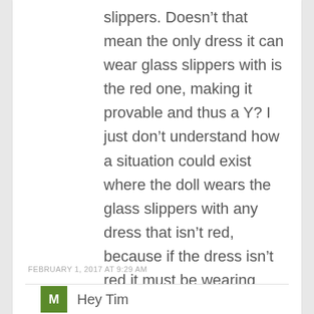slippers. Doesn’t that mean the only dress it can wear glass slippers with is the red one, making it provable and thus a Y? I just don’t understand how a situation could exist where the doll wears the glass slippers with any dress that isn’t red, because if the dress isn’t red it must be wearing purple slippers.

Help is appreciated, thank you!
FEBRUARY 1, 2017 AT 9:29 AM
Hey Tim